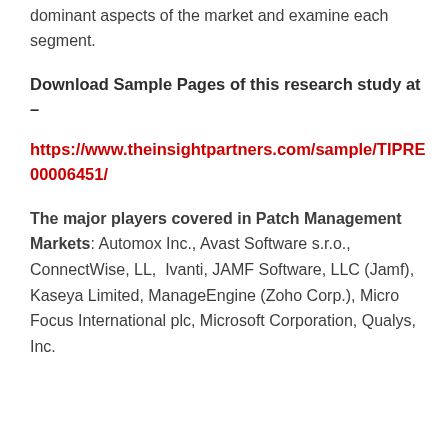dominant aspects of the market and examine each segment.
Download Sample Pages of this research study at –
https://www.theinsightpartners.com/sample/TIPRE00006451/
The major players covered in Patch Management Markets: Automox Inc., Avast Software s.r.o., ConnectWise, LL, Ivanti, JAMF Software, LLC (Jamf), Kaseya Limited, ManageEngine (Zoho Corp.), Micro Focus International plc, Microsoft Corporation, Qualys, Inc.